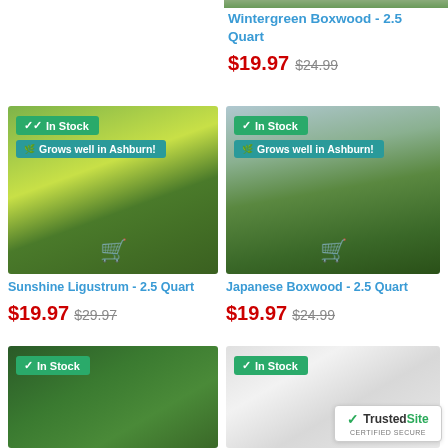[Figure (photo): Partial top image of Wintergreen Boxwood plant]
Wintergreen Boxwood - 2.5 Quart
$19.97  $24.99
[Figure (photo): Sunshine Ligustrum shrub with bright yellow-green foliage, In Stock badge, Grows well in Ashburn badge, cart icon overlay]
[Figure (photo): Japanese Boxwood rounded hedge shrub, In Stock badge, Grows well in Ashburn badge, cart icon overlay]
Sunshine Ligustrum - 2.5 Quart
$19.97  $29.97
Japanese Boxwood - 2.5 Quart
$19.97  $24.99
[Figure (photo): Green ivy/ground cover plant, In Stock badge]
[Figure (photo): White flowering plant, In Stock badge]
TrustedSite CERTIFIED SECURE